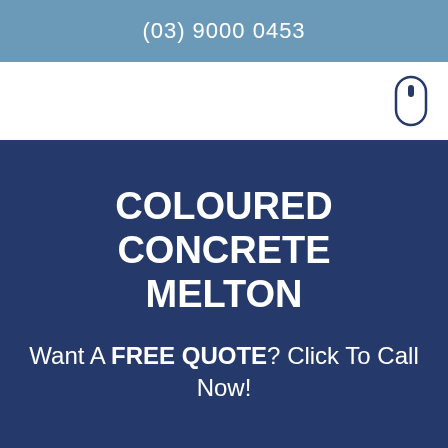(03) 9000 0453
[Figure (illustration): White navigation bar with a mouse/scroll icon on the right side]
COLOURED CONCRETE MELTON
Want A FREE QUOTE? Click To Call Now!